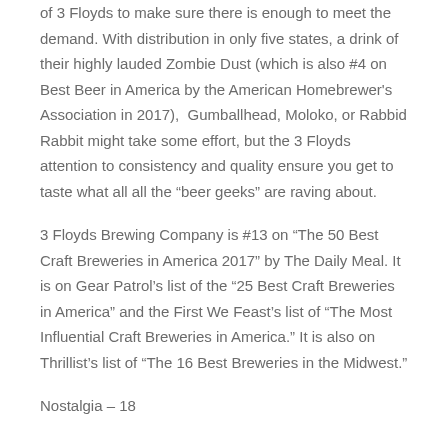of 3 Floyds to make sure there is enough to meet the demand. With distribution in only five states, a drink of their highly lauded Zombie Dust (which is also #4 on Best Beer in America by the American Homebrewer's Association in 2017),  Gumballhead, Moloko, or Rabbid Rabbit might take some effort, but the 3 Floyds attention to consistency and quality ensure you get to taste what all all the “beer geeks” are raving about.
3 Floyds Brewing Company is #13 on “The 50 Best Craft Breweries in America 2017” by The Daily Meal. It is on Gear Patrol’s list of the “25 Best Craft Breweries in America” and the First We Feast’s list of “The Most Influential Craft Breweries in America.” It is also on Thrillist’s list of “The 16 Best Breweries in the Midwest.”
Nostalgia – 18